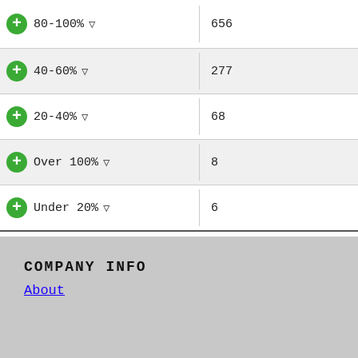| Category | Count |
| --- | --- |
| 80-100% | 656 |
| 40-60% | 277 |
| 20-40% | 68 |
| Over 100% | 8 |
| Under 20% | 6 |
Showing 1 to 6 of 6 entries
Previous  1  Next
COMPANY INFO
About